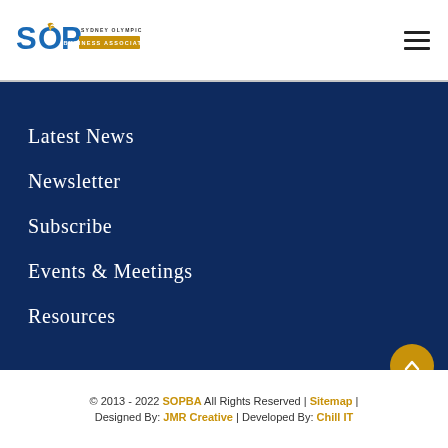[Figure (logo): Sydney Olympic Park Business Association (SOPBA) logo with SOP letters in blue and gold with flame motif, text 'SYDNEY OLYMPIC PARK' and gold banner 'BUSINESS ASSOCIATION']
Latest News
Newsletter
Subscribe
Events & Meetings
Resources
© 2013 - 2022 SOPBA All Rights Reserved | Sitemap | Designed By: JMR Creative | Developed By: Chill IT